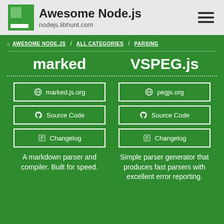Awesome Node.js | nodejs.libhunt.com
AWESOME NODE.JS / ALL CATEGORIES / PARSING
marked VS PEG.js
marked.js.org | Source Code | Changelog
pegjs.org | Source Code | Changelog
A markdown parser and compiler. Built for speed.
Simple parser generator that produces fast parsers with excellent error reporting.